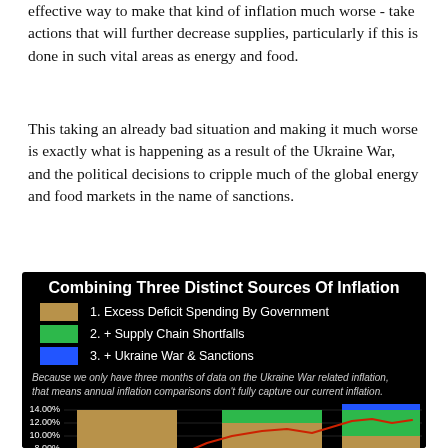effective way to make that kind of inflation much worse - take actions that will further decrease supplies, particularly if this is done in such vital areas as energy and food.
This taking an already bad situation and making it much worse is exactly what is happening as a result of the Ukraine War, and the political decisions to cripple much of the global energy and food markets in the name of sanctions.
[Figure (stacked-bar-chart): Stacked bar chart showing three sources of inflation over time with a red line trend. Y-axis shows percentages from ~4% to 14%. Three series stacked: tan/brown for deficit spending, green for supply chain shortfalls, blue for Ukraine war & sanctions. Red line shows actual inflation trend.]